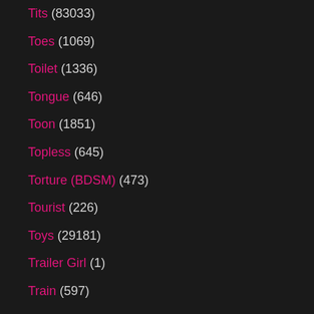Tits (83033)
Toes (1069)
Toilet (1336)
Tongue (646)
Toon (1851)
Topless (645)
Torture (BDSM) (473)
Tourist (226)
Toys (29181)
Trailer Girl (1)
Train (597)
Trampling (80)
Tranny (2826)
Transsexual (288)
Transvestite (69)
Tribbing (251)